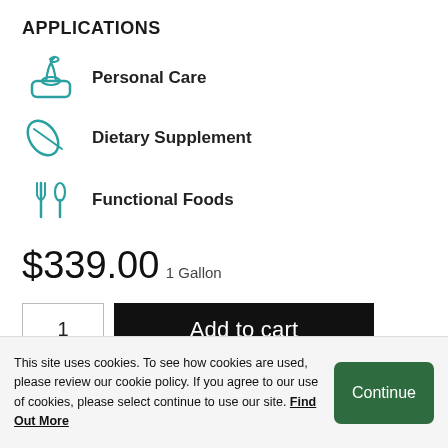APPLICATIONS
Personal Care
Dietary Supplement
Functional Foods
$339.00
1 Gallon
1
Add to cart
This site uses cookies. To see how cookies are used, please review our cookie policy. If you agree to our use of cookies, please select continue to use our site. Find Out More
Continue